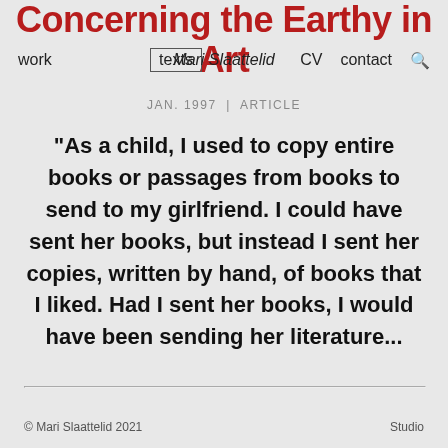Concerning the Earthy in Art
work | texts | Mari Slaattelid | CV | contact | 🔍
JAN. 1997 | ARTICLE
“As a child, I used to copy entire books or passages from books to send to my girlfriend. I could have sent her books, but instead I sent her copies, written by hand, of books that I liked. Had I sent her books, I would have been sending her literature...
© Mari Slaattelid 2021    Studio